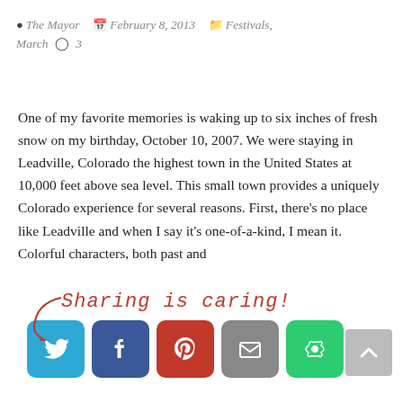The Mayor  February 8, 2013  Festivals, March  3
One of my favorite memories is waking up to six inches of fresh snow on my birthday, October 10, 2007. We were staying in Leadville, Colorado the highest town in the United States at 10,000 feet above sea level. This small town provides a uniquely Colorado experience for several reasons. First, there's no place like Leadville and when I say it's one-of-a-kind, I mean it. Colorful characters, both past and
[Figure (infographic): Sharing is caring! social share buttons for Twitter, Facebook, Pinterest, Email, and More Options]